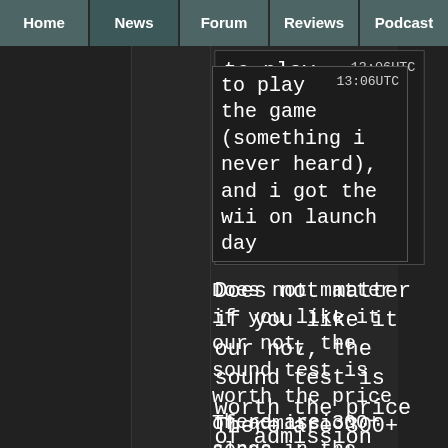Home | News | Forum | Reviews | Podcast
to play the game (something i never heard), and i got the wii on launch day
13:06UTC
Does not matter if you like it our not, the sound test is worth the price of admission alone
There are 300+ songs in the game!